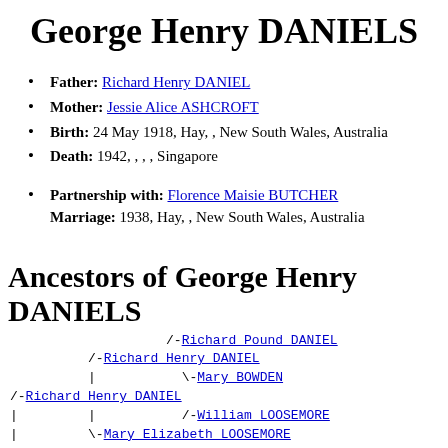George Henry DANIELS
Father: Richard Henry DANIEL
Mother: Jessie Alice ASHCROFT
Birth: 24 May 1918, Hay, , New South Wales, Australia
Death: 1942, , , , Singapore
Partnership with: Florence Maisie BUTCHER
Marriage: 1938, Hay, , New South Wales, Australia
Ancestors of George Henry DANIELS
/-Richard Pound DANIEL
/-Richard Henry DANIEL
| \-Mary BOWDEN
/-Richard Henry DANIEL
| | /-William LOOSEMORE
| \-Mary Elizabeth LOOSEMORE